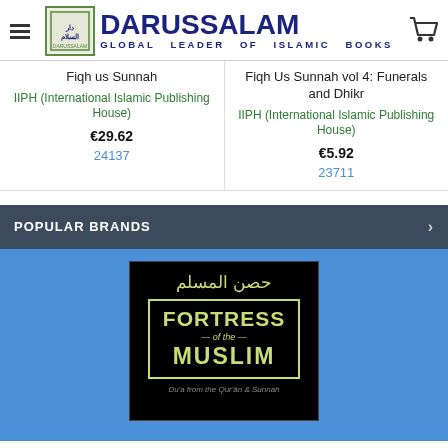DARUSSALAM GLOBAL LEADER OF ISLAMIC BOOKS
Fiqh us Sunnah
IIPH (International Islamic Publishing House)
€29.62
24137
Fiqh Us Sunnah vol 4: Funerals and Dhikr
IIPH (International Islamic Publishing House)
€5.92
23711
POPULAR BRANDS
[Figure (photo): Book cover of Fortress of the Muslim (Hisnul Muslim) showing Arabic title, green decorative border, and subtitle Da'a from the Qur'an & Sunnah on black background]